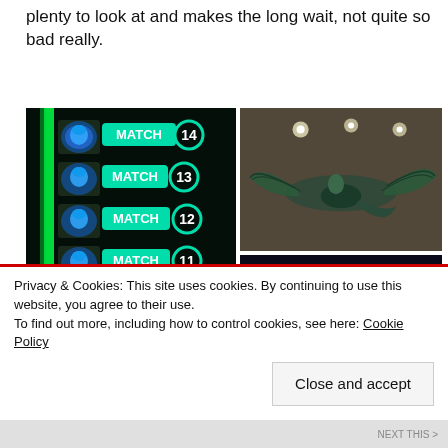plenty to look at and makes the long wait, not quite so bad really.
[Figure (photo): Left: Avatar-themed interactive match display screen showing Na'vi faces with MATCH labels and numbers 9-14 in glowing teal/green on dark background. Top-right: Looking up at a large mural/sculpture of a winged creature (banshee/ikran) on a ceiling in a dark themed room. Bottom-right: A glowing blue tablet/screen device showing character images.]
Privacy & Cookies: This site uses cookies. By continuing to use this website, you agree to their use.
To find out more, including how to control cookies, see here: Cookie Policy
Close and accept